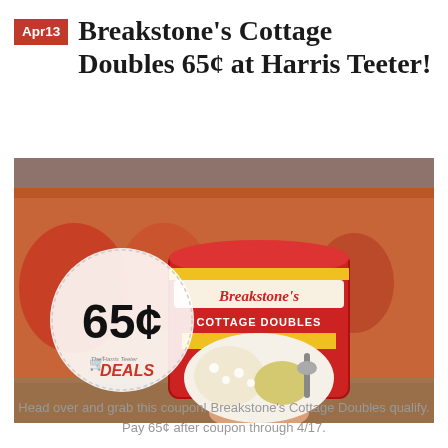Apr13
Breakstone's Cottage Doubles 65¢ at Harris Teeter!
[Figure (photo): A hand holding a Breakstone's Cottage Doubles Pineapple container in a store, with a circular price badge showing 65¢ and the Harris Teeter Deals logo overlaid on the left.]
Head over and grab this coupon! Breakstone's Cottage Doubles qualify. Pay 65¢ after coupon through 4/17.